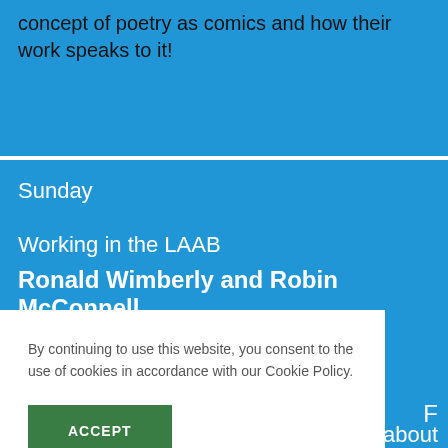concept of poetry as comics and how their work speaks to it!
Sunday
Working in the LAAB
Ronald Wimberly and Robin McConnell
By continuing to use this website, you consent to the use of cookies in accordance with our Cookie Policy.
ACCEPT
F
about